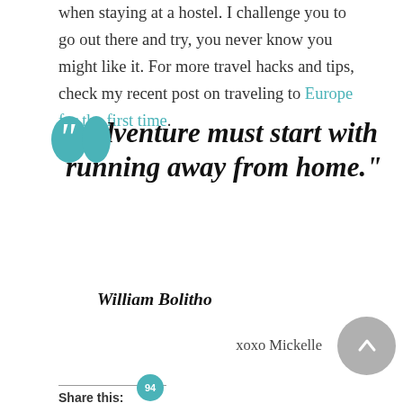when staying at a hostel. I challenge you to go out there and try, you never know you might like it. For more travel hacks and tips, check my recent post on traveling to Europe for the first time.
“Adventure must start with running away from home.”
William Bolitho
xoxo Mickelle
Share this: